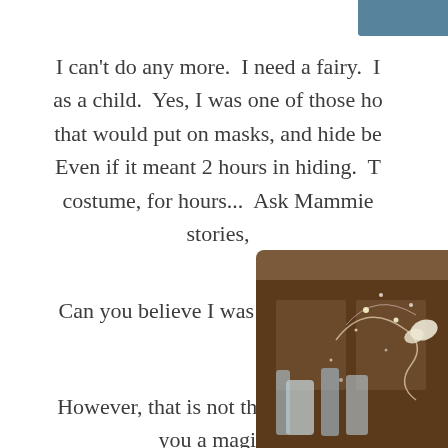[Figure (photo): Partial photo visible at top right corner, showing blue tones, cropped]
I can't do any more.  I need a fairy.  I loved fairies as a child.  Yes, I was one of those horrible children that would put on masks, and hide behind bushes. Even if it meant 2 hours in hiding.  To stay in costume, for hours...  Ask Mammie, she has stories,
Can you believe I was that mischevi
However, that is not the point of this  you a magic t
[Figure (photo): Photo at bottom right showing glass bottles, wooden furniture, and sparkly fairy light effects with a white butterfly]